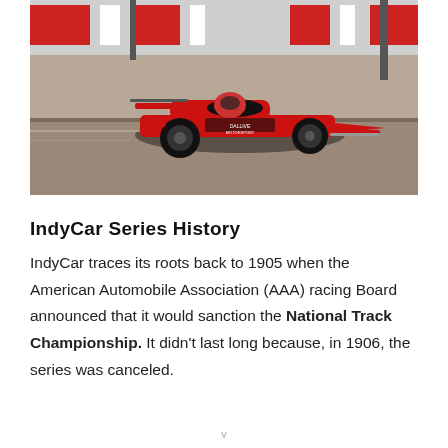[Figure (photo): A red and black IndyCar/Formula car racing on a track with red and white barriers in the background. The car is in motion, photographed from the side.]
IndyCar Series History
IndyCar traces its roots back to 1905 when the American Automobile Association (AAA) racing Board announced that it would sanction the National Track Championship. It didn't last long because, in 1906, the series was canceled.
v